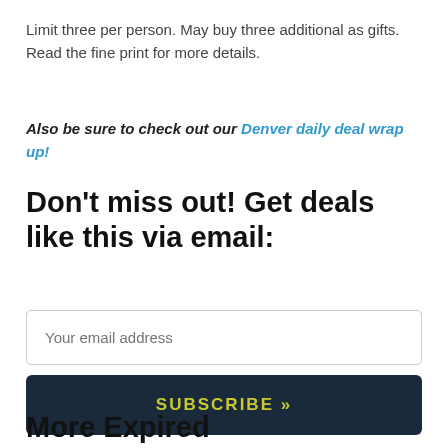Limit three per person. May buy three additional as gifts. Read the fine print for more details.
Also be sure to check out our Denver daily deal wrap up!
Don't miss out! Get deals like this via email:
Your email address
SUBSCRIBE »
More Expired